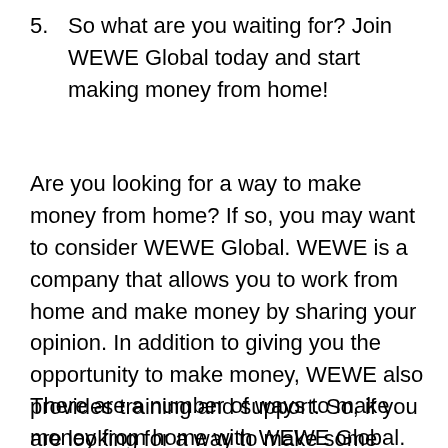5. So what are you waiting for? Join WEWE Global today and start making money from home!
Are you looking for a way to make money from home? If so, you may want to consider WEWE Global. WEWE is a company that allows you to work from home and make money by sharing your opinion. In addition to giving you the opportunity to make money, WEWE also provides training and support. So, if you are looking for a way to make some extra money, WEWE may be the perfect option for you.
There are a number of ways to make money from home with WEWE Global. Some of the most